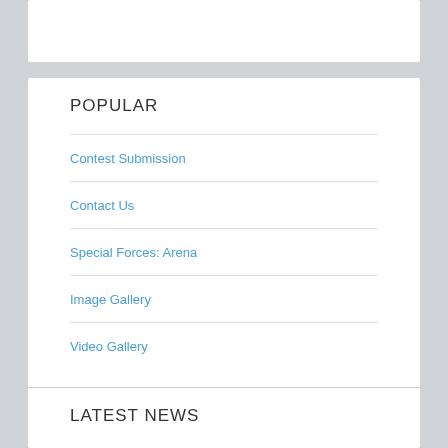POPULAR
Contest Submission
Contact Us
Special Forces: Arena
Image Gallery
Video Gallery
LATEST NEWS
Movie Reviews  (975)
On The Show  (119)